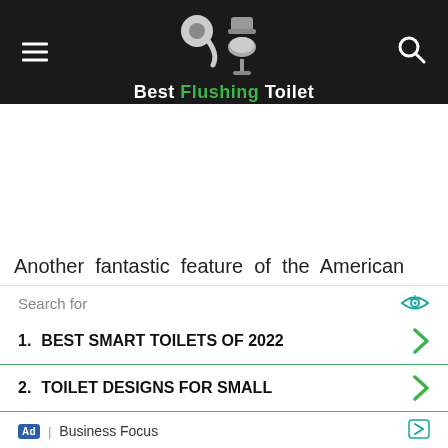Best Flushing Toilet
Another fantastic feature of the American
[Figure (infographic): Advertisement block with search prompt. Shows: 'Search for' label with eye icon, item 1: BEST SMART TOILETS OF 2022, item 2: TOILET DESIGNS FOR SMALL, footer: Ad | Business Focus with arrow icon.]